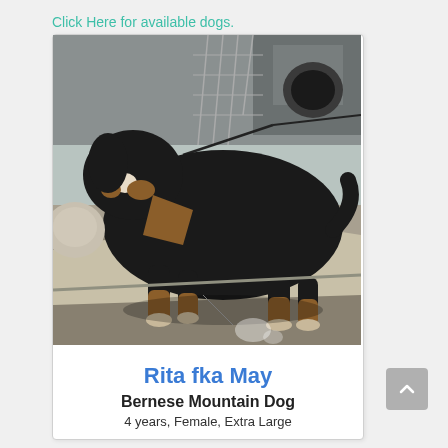Click Here for available dogs.
[Figure (photo): A Bernese Mountain Dog named Rita fka May on a leash, standing on a sidewalk/street curb. The dog is large, black with brown and white markings, viewed from the side. Background shows chain-link fence and a vehicle.]
Rita fka May
Bernese Mountain Dog
4 years, Female, Extra Large